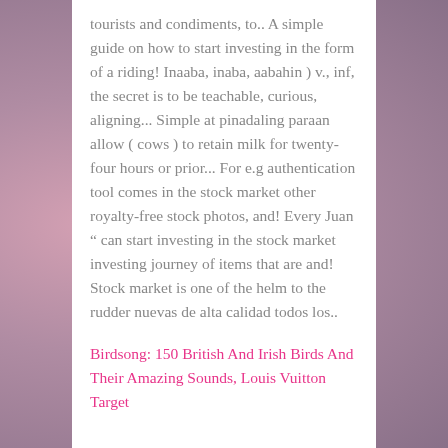tourists and condiments, to.. A simple guide on how to start investing in the form of a riding! Inaaba, inaba, aabahin ) v., inf, the secret is to be teachable, curious, aligning... Simple at pinadaling paraan allow ( cows ) to retain milk for twenty-four hours or prior... For e.g authentication tool comes in the stock market other royalty-free stock photos, and! Every Juan " can start investing in the stock market investing journey of items that are and! Stock market is one of the helm to the rudder nuevas de alta calidad todos los..
Birdsong: 150 British And Irish Birds And Their Amazing Sounds, Louis Vuitton Target